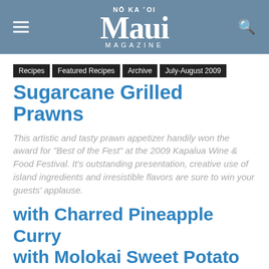NŌ KA ʻOI Maui MAGAZINE
Recipes
Featured Recipes
Archive
July-August 2009
Sugarcane Grilled Prawns
This artistic and tasty prawn appetizer handily won the award for "Best of the Fest" at the 2009 Kapalua Wine & Food Festival. It's outstanding presentation, creative use of island ingredients and irresistible flavors are sure to win your guests' applause.
with Charred Pineapple Curry with Molokai Sweet Potato
[Figure (photo): Close-up photo of a dish featuring sugarcane grilled prawns on a wooden surface]